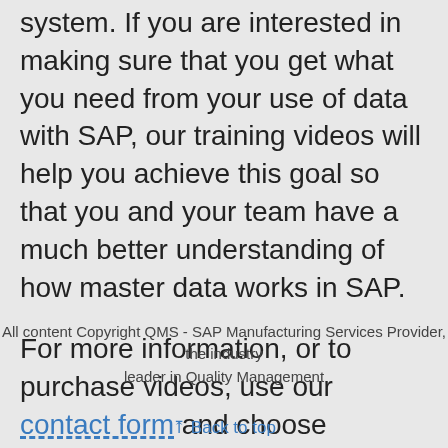system. If you are interested in making sure that you get what you need from your use of data with SAP, our training videos will help you achieve this goal so that you and your team have a much better understanding of how master data works in SAP.
For more information, or to purchase videos, use our contact form and choose “Training Videos” in the subject drop-down box.
All content Copyright QMS - SAP Manufacturing Services Provider, the industry leader in Quality Management
Back to top